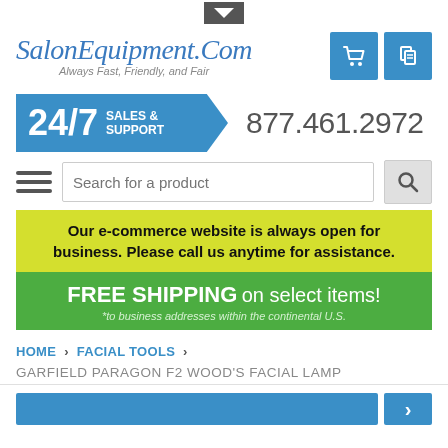[Figure (logo): SalonEquipment.Com logo with tagline 'Always Fast, Friendly, and Fair' and shopping cart/document icons]
[Figure (infographic): 24/7 Sales & Support banner with phone number 877.461.2972]
[Figure (other): Search bar with hamburger menu icon and search button]
Our e-commerce website is always open for business. Please call us anytime for assistance.
FREE SHIPPING on select items! *to business addresses within the continental U.S.
HOME > FACIAL TOOLS >
GARFIELD PARAGON F2 WOOD'S FACIAL LAMP